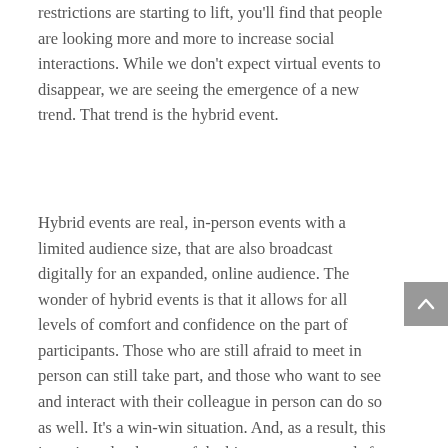restrictions are starting to lift, you'll find that people are looking more and more to increase social interactions. While we don't expect virtual events to disappear, we are seeing the emergence of a new trend. That trend is the hybrid event.
Hybrid events are real, in-person events with a limited audience size, that are also broadcast digitally for an expanded, online audience. The wonder of hybrid events is that it allows for all levels of comfort and confidence on the part of participants. Those who are still afraid to meet in person can still take part, and those who want to see and interact with their colleague in person can do so as well. It's a win-win situation. And, as a result, this is projected to be one of the biggest events trends for 2021.